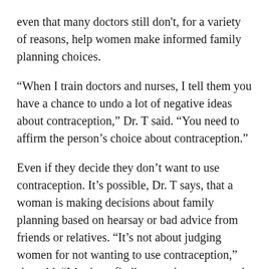even that many doctors still don't, for a variety of reasons, help women make informed family planning choices.
“When I train doctors and nurses, I tell them you have a chance to undo a lot of negative ideas about contraception,” Dr. T said. “You need to affirm the person’s choice about contraception.”
Even if they decide they don’t want to use contraception. It’s possible, Dr. T says, that a woman is making decisions about family planning based on hearsay or bad advice from friends or relatives. “It’s not about judging women for not wanting to use contraception,” she said. “It’s about finding out the reasons and fixing misunderstandings.”